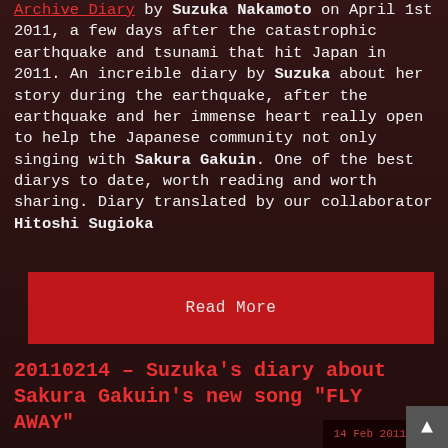Archive Diary by Suzuka Nakamoto on April 1st 2011, a few days after the catastrophic earthquake and tsunami that hit Japan in 2011. An increible diary by Suzuka about her story during the earthquake, after the earthquake and her immense heart really open to help the Japanese community not only singing with Sakura Gakuin. One of the best diarys to date, worth reading and worth sharing. Diary translated by our collaborator Hitoshi Sugioka
Read More
20110214 – Suzuka's diary about Sakura Gakuin's new song "FLY AWAY"
14 Feb 2011